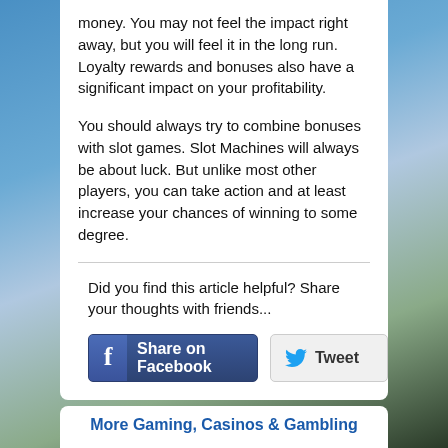money. You may not feel the impact right away, but you will feel it in the long run. Loyalty rewards and bonuses also have a significant impact on your profitability.
You should always try to combine bonuses with slot games. Slot Machines will always be about luck. But unlike most other players, you can take action and at least increase your chances of winning to some degree.
Did you find this article helpful? Share your thoughts with friends...
[Figure (other): Share on Facebook button (blue with Facebook f icon)]
[Figure (other): Tweet button (light gray with Twitter bird icon)]
More Gaming, Casinos & Gambling